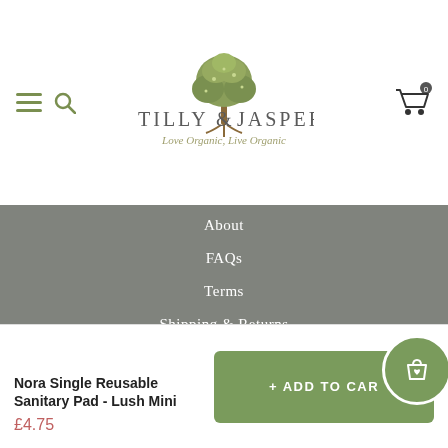[Figure (logo): Tilly & Jasper logo with tree illustration and tagline 'Love Organic, Live Organic']
About
FAQs
Terms
Shipping & Returns
Privacy Policy
Careers
Nora Single Reusable Sanitary Pad - Lush Mini
£4.75